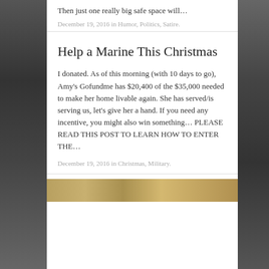Then just one really big safe space will…
December 19, 2016 in Humor, Politics, Satire.
Help a Marine This Christmas
I donated. As of this morning (with 10 days to go), Amy's Gofundme has $20,400 of the $35,000 needed to make her home livable again. She has served/is serving us, let's give her a hand. If you need any incentive, you might also win something… PLEASE READ THIS POST TO LEARN HOW TO ENTER THE…
December 19, 2016 in Christmas, Military.
[Figure (photo): Partial view of a photo at bottom of page, warm golden/brown tones]